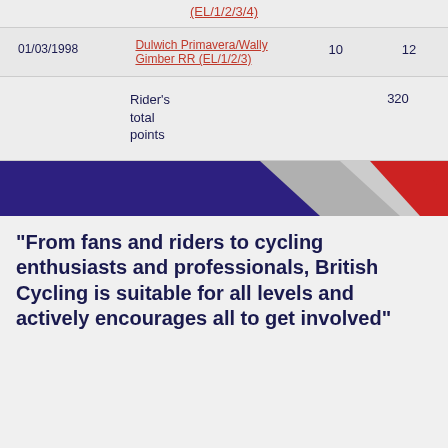| Date | Race | Col3 | Col4 |
| --- | --- | --- | --- |
|  | (EL/1/2/3/4) |  |  |
| 01/03/1998 | Dulwich Primavera/Wally Gimber RR (EL/1/2/3) | 10 | 12 |
|  | Rider's total points |  | 320 |
[Figure (photo): British Cycling banner with blue, white and red diagonal stripes]
“From fans and riders to cycling enthusiasts and professionals, British Cycling is suitable for all levels and actively encourages all to get involved”